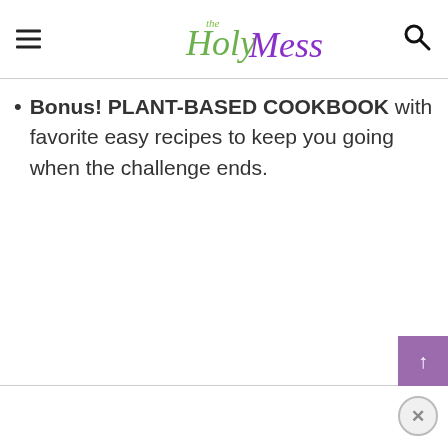The Holy Mess
Bonus! PLANT-BASED COOKBOOK with favorite easy recipes to keep you going when the challenge ends.